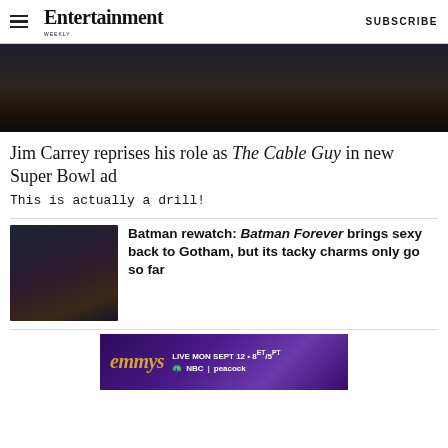Entertainment Weekly — SUBSCRIBE
[Figure (photo): Dark close-up image, partial view of The Cable Guy scene]
Jim Carrey reprises his role as The Cable Guy in new Super Bowl ad
This is actually a drill!
[Figure (photo): Batman Forever promotional photo with Batman and a woman with blonde hair]
Batman rewatch: Batman Forever brings sexy back to Gotham, but its tacky charms only go so far
[Figure (other): Emmys advertisement banner: LIVE MON SEPT 12 • 8ET/5PT NBC | peacock]